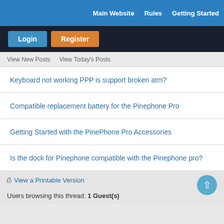Main Website | Rules | Getting Started
Login | Register
View New Posts  View Today's Posts
Keyboard not working PPP is support broken atm?
Compatible replacement battery for the Pinephone Pro
Getting Started with the PinePhone Pro Accessories
Is the dock for Pinephone compatible with the Pinephone pro?
View a Printable Version
Users browsing this thread: 1 Guest(s)